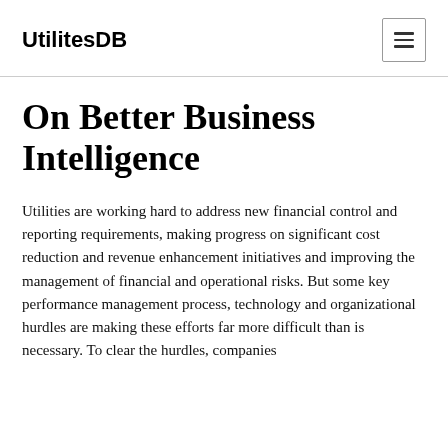UtilitesDB
On Better Business Intelligence
Utilities are working hard to address new financial control and reporting requirements, making progress on significant cost reduction and revenue enhancement initiatives and improving the management of financial and operational risks. But some key performance management process, technology and organizational hurdles are making these efforts far more difficult than is necessary. To clear the hurdles, companies